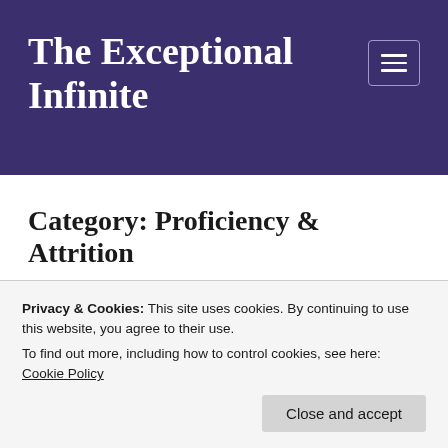The Exceptional Infinite
Category: Proficiency & Attrition
Privacy & Cookies: This site uses cookies. By continuing to use this website, you agree to their use.
To find out more, including how to control cookies, see here: Cookie Policy
Close and accept